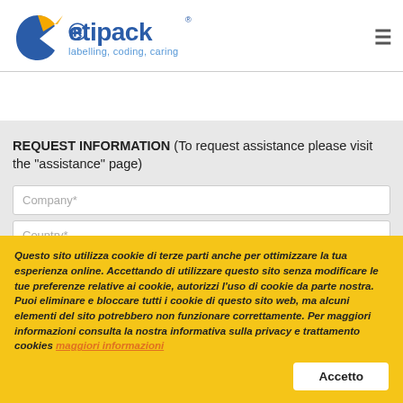[Figure (logo): Etipack logo with text 'labelling, coding, caring']
REQUEST INFORMATION  (To request assistance please visit the "assistance" page)
Company*
Country*
Name*
Email*
Questo sito utilizza cookie di terze parti anche per ottimizzare la tua esperienza online. Accettando di utilizzare questo sito senza modificare le tue preferenze relative ai cookie, autorizzi l'uso di cookie da parte nostra. Puoi eliminare e bloccare tutti i cookie di questo sito web, ma alcuni elementi del sito potrebbero non funzionare correttamente. Per maggiori informazioni consulta la nostra informativa sulla privacy e trattamento cookies maggiori informazioni
Accetto